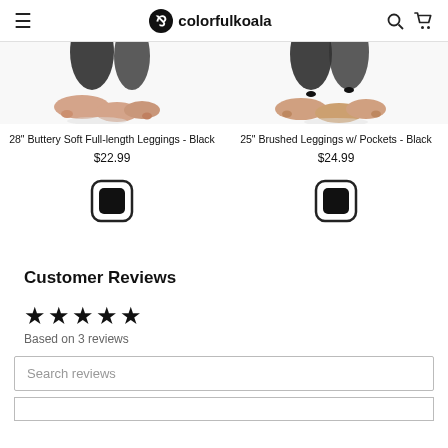≡ colorfulkoala 🔍 🛒
[Figure (photo): Partial view of feet/legs wearing black leggings, left product]
28" Buttery Soft Full-length Leggings - Black
$22.99
[Figure (photo): Partial view of feet/legs wearing black leggings, right product]
25" Brushed Leggings w/ Pockets - Black
$24.99
Customer Reviews
★★★★★
Based on 3 reviews
Search reviews